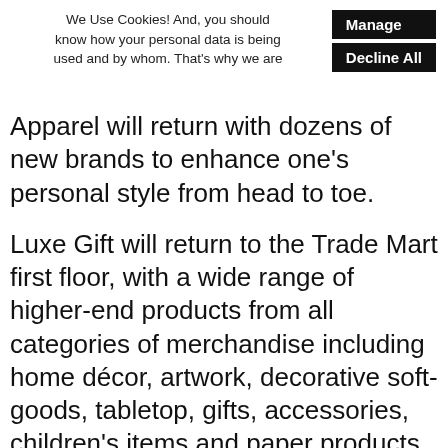We Use Cookies! And, you should know how your personal data is being used and by whom. That's why we are
Manage | Decline All
Apparel will return with dozens of new brands to enhance one’s personal style from head to toe.
Luxe Gift will return to the Trade Mart first floor, with a wide range of higher-end products from all categories of merchandise including home décor, artwork, decorative soft-goods, tabletop, gifts, accessories, children’s items and paper products.
In Market Hall, in addition to the premiere of Antiques, the other Immediate Goods collections will deliver “buy it now, take it home” resources for retailers and designers seeking a solution to supply chain challenges. Artisan items, gifts, jewelry, home décor, and vintage will fill Main Hall